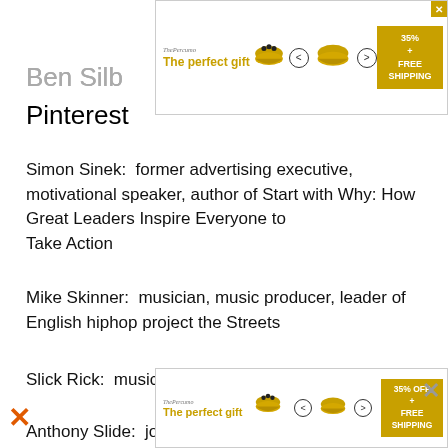[Figure (other): Advertisement banner for 'The perfect gift' showing a bowl product with navigation arrows and a 35% OFF + FREE SHIPPING badge, with a close button.]
Ben Silbermann: co-founder of Pinterest
Simon Sinek:  former advertising executive, motivational speaker, author of Start with Why: How Great Leaders Inspire Everyone to Take Action
Mike Skinner:  musician, music producer, leader of English hiphop project the Streets
Slick Rick:  musician, music producer
Anthony Slide:  journalist, author, expert on the history of
[Figure (other): Bottom advertisement banner for 'The perfect gift' showing a bowl product with navigation arrows and a 35% OFF + FREE SHIPPING badge.]